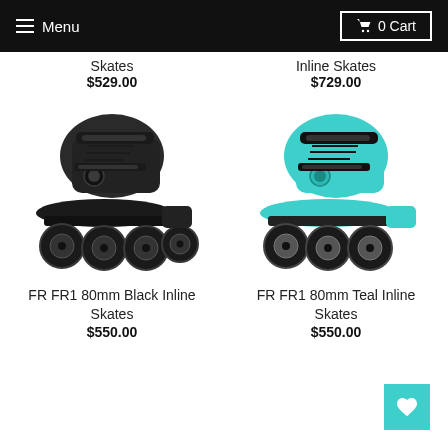Menu  0 Cart
Skates
$529.00
Inline Skates
$729.00
[Figure (photo): FR FR1 80mm Black Inline Skates - black inline skate with 4 wheels viewed from the side]
[Figure (photo): FR FR1 80mm Teal Inline Skates - teal/aqua inline skate with 3 wheels viewed from the side]
FR FR1 80mm Black Inline Skates
$550.00
FR FR1 80mm Teal Inline Skates
$550.00